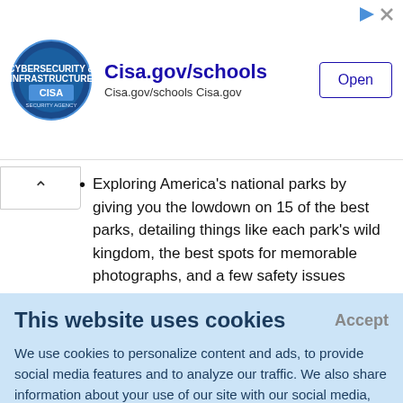[Figure (screenshot): CISA advertisement banner with logo, 'Cisa.gov/schools' title, subtitle, and Open button]
Exploring America's national parks by giving you the lowdown on 15 of the best parks, detailing things like each park's wild kingdom, the best spots for memorable photographs, and a few safety issues
The pages of this book resemble a great long distance hike
This website uses cookies
We use cookies to personalize content and ads, to provide social media features and to analyze our traffic. We also share information about your use of our site with our social media, advertising and analytics partners who may combine it with other information that you've provided to them or that they've collected from your use of their services.
Learn More.
history of each park, describes its most important features